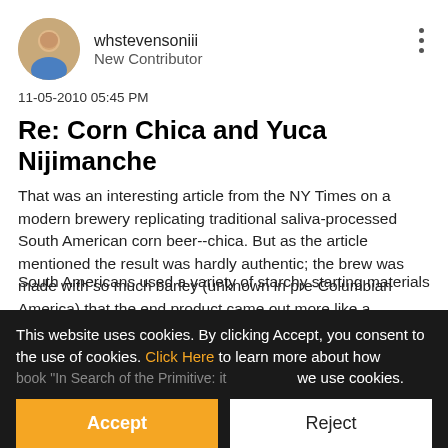[Figure (photo): Circular avatar photo of a person with short hair wearing a blue shirt]
whstevensoniii
New Contributor
11-05-2010 05:45 PM
Re: Corn Chica and Yuca Nijimanche
That was an interesting article from the NY Times on a modern brewery replicating traditional saliva-processed South American corn beer--chica. But as the article mentioned the result was hardly authentic; the brew was made with so much barley (unknown in pre-Columbian America) that the end product came out more like a standard beer.
South Americans used a variety of starchy starting materials
book "In Search of the Primitive: it
This website uses cookies. By clicking Accept, you consent to the use of cookies. Click Here to learn more about how we use cookies.